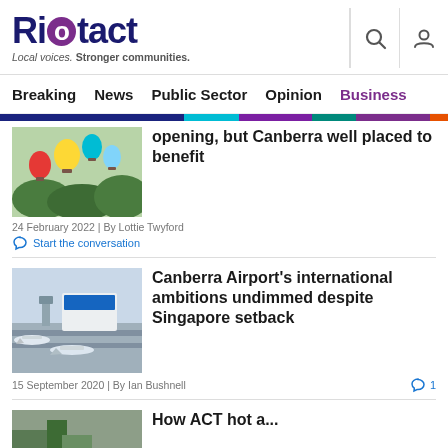Riotact — Local voices. Stronger communities.
Breaking | News | Public Sector | Opinion | Business
opening, but Canberra well placed to benefit
24 February 2022 | By Lottie Twyford
Start the conversation
Canberra Airport's international ambitions undimmed despite Singapore setback
15 September 2020 | By Ian Bushnell
1